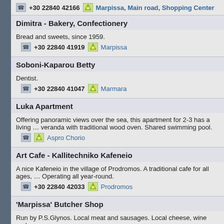+30 22840 42166 | Marpissa, Main road, Shopping Center
Dimitra - Bakery, Confectionery
Bread and sweets, since 1959.
+30 22840 41919 | Marpissa
Soboni-Kaparou Betty
Dentist.
+30 22840 41047 | Marmara
Luka Apartment
Offering panoramic views over the sea, this apartment for 2-3 has a living ... veranda with traditional wood oven. Shared swimming pool.
Aspro Chorio
Art Cafe - Kallitechniko Kafeneio
A nice Kafeneio in the village of Prodromos. A traditional cafe for all ages, ... Operating all year-round.
+30 22840 42033 | Prodromos
'Marpissa' Butcher Shop
Run by P.S.Glynos. Local meat and sausages. Local cheese, wine and so...